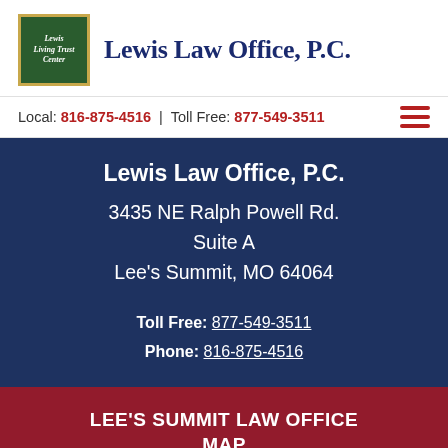[Figure (logo): Lewis Living Trust Center logo — green square with gold border and white script text]
Lewis Law Office, P.C.
Local: 816-875-4516 | Toll Free: 877-549-3511
Lewis Law Office, P.C.
3435 NE Ralph Powell Rd.
Suite A
Lee's Summit, MO 64064
Toll Free: 877-549-3511
Phone: 816-875-4516
LEE'S SUMMIT LAW OFFICE MAP